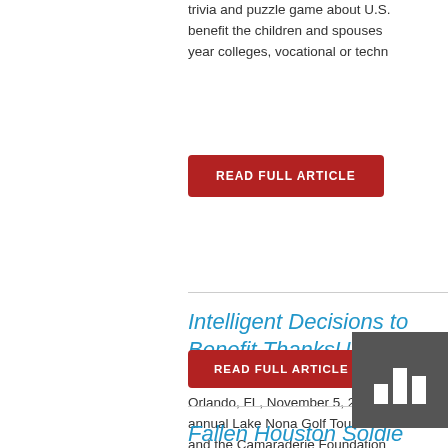trivia and puzzle game about U.S. benefit the children and spouses year colleges, vocational or techn
READ FULL ARTICLE
Intelligent Decisions to Benefit ThanksUSA an
Annual Golf Tournament, spo
Orlando, FL, November 5, 2013 – annual Lake Nona Golf Tournament and the Camaraderie Foundation
READ FULL ARTICLE
Fallen Houston Soldie